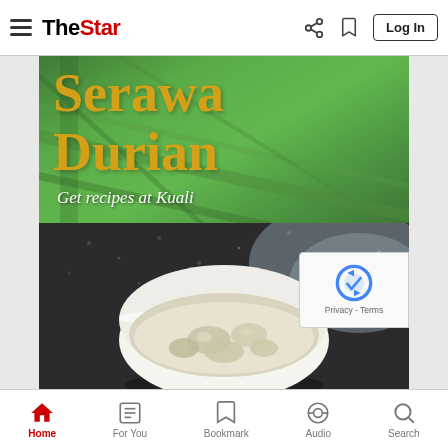The Star — navigation bar with hamburger menu, logo, share, bookmark, and Log In button
[Figure (photo): Promotional food image for Serawa Durian recipe from Kuali. Shows large yellow text 'Serawa Durian' on a green banana leaf background with italic white subtitle 'Get recipes at Kuali'. Lower portion shows a dark speckled stone plate with a white bowl containing serawa durian (durian in coconut milk). A reCAPTCHA Privacy - Terms badge appears at bottom right.]
Bottom navigation bar: Home (active, red), For You, Bookmark, Audio, Search